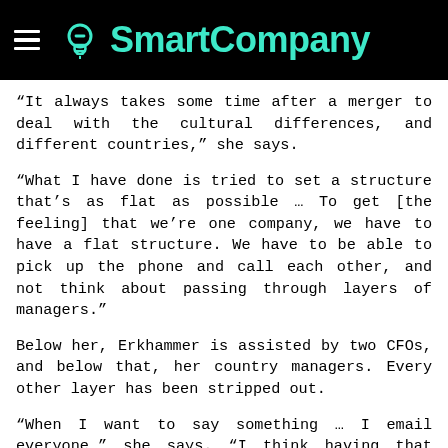SmartCompany
“It always takes some time after a merger to deal with the cultural differences, and different countries,” she says.
“What I have done is tried to set a structure that’s as flat as possible … To get [the feeling] that we’re one company, we have to have a flat structure. We have to be able to pick up the phone and call each other, and not think about passing through layers of managers.”
Below her, Erkhammer is assisted by two CFOs, and below that, her country managers. Every other layer has been stripped out.
“When I want to say something … I email everyone,” she says. “I think having that flat structure is key to our success.”